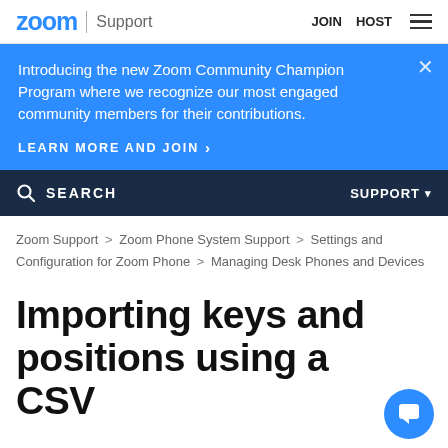zoom | Support   JOIN  HOST
Introducing the new Zoom Community Champion Program where we recognize our most engaged community members for their contributions.
LEARN MORE AND JOIN >
SEARCH   SUPPORT ▾
Zoom Support > Zoom Phone System Support > Settings and Configuration for Zoom Phone > Managing Desk Phones and Devices
Importing keys and positions using a CSV